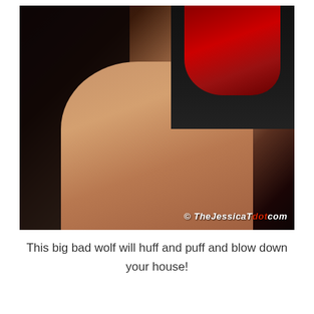[Figure (photo): A woman with bright red hair wearing a black top and short skirt sitting in a chair. A watermark reading '© TheJessicaT dot com' appears in the lower right corner of the photo.]
This big bad wolf will huff and puff and blow down your house!